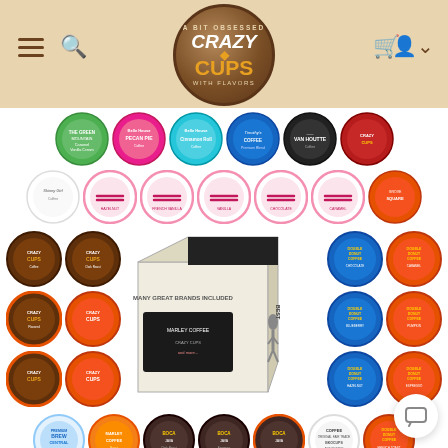[Figure (screenshot): Crazy Cups website header with navigation icons (hamburger menu, search) on left, Crazy Cups logo in center (circular brown logo with 'A Bit Obsessed With Flavors' text), cart and user icons on right, on a tan/beige background.]
[Figure (photo): Product page showing a large grid of coffee pod K-cups from various brands including Crazy Cups, Double Donut Coffee, Grove Square, Timothy's, Van Houtte, Skinny Girl, Barista Prima, Brew Central, Marley Coffee, and others. In the center is a product box labeled 'Many Great Brands Included'. The pods are arranged in rows on a white background.]